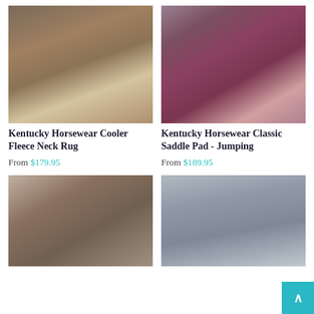[Figure (photo): Horse wearing a navy blue fleece neck rug, standing in front of wooden barn doors]
[Figure (photo): Burgundy/maroon quilted saddle pad with a dark leather saddle on top of a horse's back]
Kentucky Horsewear Cooler Fleece Neck Rug
From $179.95
Kentucky Horsewear Classic Saddle Pad - Jumping
From $189.95
[Figure (photo): Dark leather dressage saddle on a horse, photographed in front of a building]
[Figure (photo): White horse or saddle pad against a background of vertical metal bars or rails]